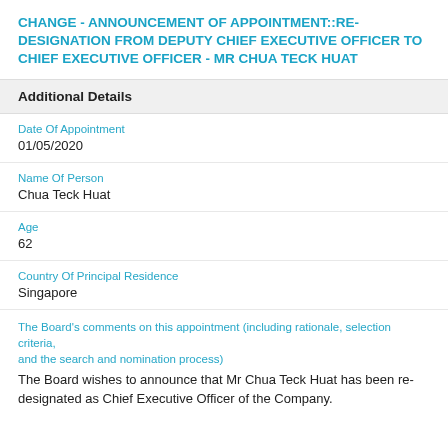CHANGE - ANNOUNCEMENT OF APPOINTMENT::RE-DESIGNATION FROM DEPUTY CHIEF EXECUTIVE OFFICER TO CHIEF EXECUTIVE OFFICER - MR CHUA TECK HUAT
Additional Details
Date Of Appointment
01/05/2020
Name Of Person
Chua Teck Huat
Age
62
Country Of Principal Residence
Singapore
The Board's comments on this appointment (including rationale, selection criteria, and the search and nomination process)
The Board wishes to announce that Mr Chua Teck Huat has been re-designated as Chief Executive Officer of the Company.